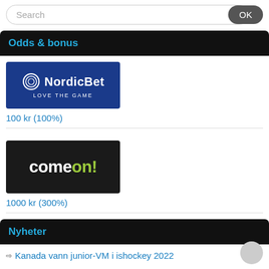Search
Odds & bonus
[Figure (logo): NordicBet logo - blue background with circular icon and text 'NordicBet LOVE THE GAME']
100 kr (100%)
[Figure (logo): ComeOn! logo - black background with white and green text 'comeon!']
1000 kr (300%)
Nyheter
Kanada vann junior-VM i ishockey 2022